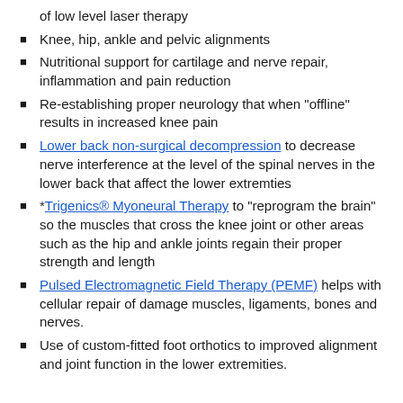of low level laser therapy
Knee, hip, ankle and pelvic alignments
Nutritional support for cartilage and nerve repair, inflammation and pain reduction
Re-establishing proper neurology that when "offline" results in increased knee pain
Lower back non-surgical decompression to decrease nerve interference at the level of the spinal nerves in the lower back that affect the lower extremties
*Trigenics® Myoneural Therapy to "reprogram the brain" so the muscles that cross the knee joint or other areas such as the hip and ankle joints regain their proper strength and length
Pulsed Electromagnetic Field Therapy (PEMF) helps with cellular repair of damage muscles, ligaments, bones and nerves.
Use of custom-fitted foot orthotics to improved alignment and joint function in the lower extremities.